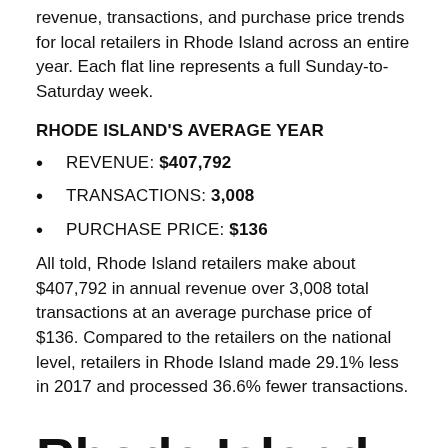revenue, transactions, and purchase price trends for local retailers in Rhode Island across an entire year. Each flat line represents a full Sunday-to-Saturday week.
RHODE ISLAND'S AVERAGE YEAR
REVENUE: $407,792
TRANSACTIONS: 3,008
PURCHASE PRICE: $136
All told, Rhode Island retailers make about $407,792 in annual revenue over 3,008 total transactions at an average purchase price of $136. Compared to the retailers on the national level, retailers in Rhode Island made 29.1% less in 2017 and processed 36.6% fewer transactions.
Rhode Island: local